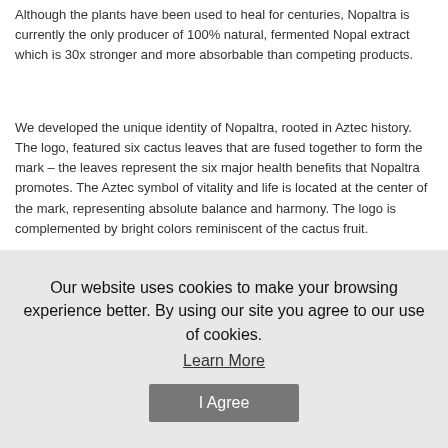Although the plants have been used to heal for centuries, Nopaltra is currently the only producer of 100% natural, fermented Nopal extract which is 30x stronger and more absorbable than competing products.
We developed the unique identity of Nopaltra, rooted in Aztec history. The logo, featured six cactus leaves that are fused together to form the mark – the leaves represent the six major health benefits that Nopaltra promotes. The Aztec symbol of vitality and life is located at the center of the mark, representing absolute balance and harmony. The logo is complemented by bright colors reminiscent of the cactus fruit.
[Figure (other): A pink/magenta outlined rectangle (empty box), likely a placeholder for a logo or image.]
[Figure (other): A light gray outlined rectangle (empty box), likely a placeholder for additional content.]
Our website uses cookies to make your browsing experience better. By using our site you agree to our use of cookies.
Learn More
I Agree